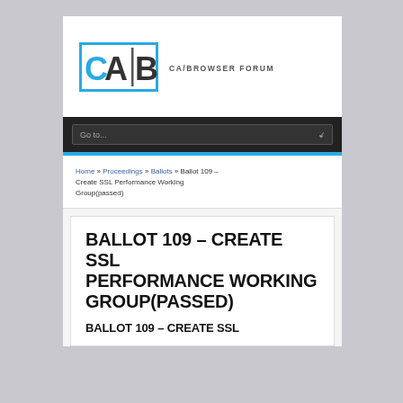[Figure (logo): CA/Browser Forum logo with blue box containing CAB letters and text CA/BROWSER FORUM]
Go to...
Home » Proceedings » Ballots » Ballot 109 – Create SSL Performance Working Group(passed)
BALLOT 109 – CREATE SSL PERFORMANCE WORKING GROUP(PASSED)
BALLOT 109 – CREATE SSL